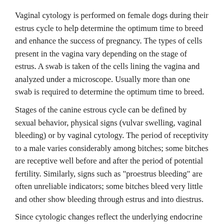Vaginal cytology is performed on female dogs during their estrus cycle to help determine the optimum time to breed and enhance the success of pregnancy. The types of cells present in the vagina vary depending on the stage of estrus. A swab is taken of the cells lining the vagina and analyzed under a microscope. Usually more than one swab is required to determine the optimum time to breed.
Stages of the canine estrous cycle can be defined by sexual behavior, physical signs (vulvar swelling, vaginal bleeding) or by vaginal cytology. The period of receptivity to a male varies considerably among bitches; some bitches are receptive well before and after the period of potential fertility. Similarly, signs such as "proestrus bleeding" are often unreliable indicators; some bitches bleed very little and other show bleeding through estrus and into diestrus.
Since cytologic changes reflect the underlying endocrine events